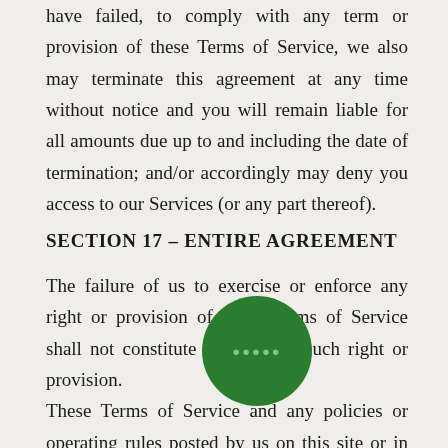have failed, to comply with any term or provision of these Terms of Service, we also may terminate this agreement at any time without notice and you will remain liable for all amounts due up to and including the date of termination; and/or accordingly may deny you access to our Services (or any part thereof).
SECTION 17 – ENTIRE AGREEMENT
The failure of us to exercise or enforce any right or provision of these Terms of Service shall not constitute a waiver of such right or provision. These Terms of Service and any policies or operating rules posted by us on this site or in respect to The Service constitutes the entire agreement and understanding between you and us and your use of the Service, superseding any prior or contemporaneous agreements, communications and